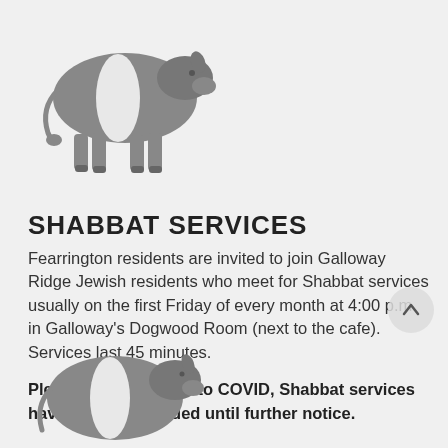[Figure (illustration): Grayscale silhouette illustration of a belted Galloway cow facing left, top of page]
SHABBAT SERVICES
Fearrington residents are invited to join Galloway Ridge Jewish residents who meet for Shabbat services usually on the first Friday of every month at 4:00 p.m. in Galloway's Dogwood Room (next to the cafe). Services last 45 minutes.
Please note that, due to COVID, Shabbat services have been suspended until further notice.
[Figure (illustration): Grayscale silhouette illustration of a belted Galloway cow, partially visible at bottom of page]